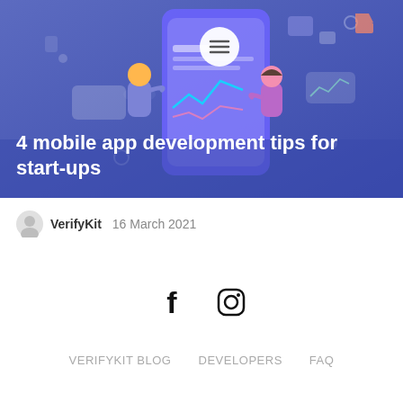[Figure (illustration): Hero banner with purple/blue background showing two people interacting with a large smartphone UI, with floating UI elements and app icons around it. A hamburger menu icon is visible in a white circle at the top center.]
4 mobile app development tips for start-ups
VerifyKit  16 March 2021
[Figure (other): Social media icons: Facebook (f) and Instagram camera icon]
VERIFYKIT BLOG   DEVELOPERS   FAQ